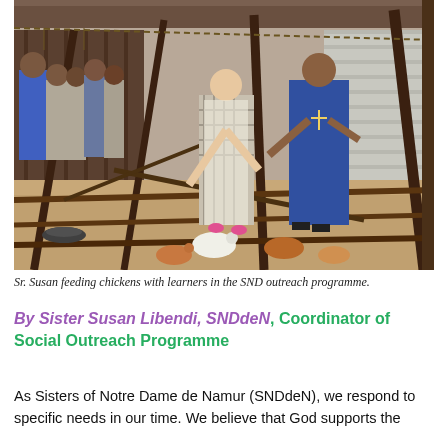[Figure (photo): A woman in a blue dress (Sr. Susan) and a girl in a grey checked dress feeding chickens inside a fenced pen made of wooden poles and branches. Several schoolgirls in grey uniforms watch in the background. Wooden building and corrugated metal roofing visible in the background.]
Sr. Susan feeding chickens with learners in the SND outreach programme.
By Sister Susan Libendi, SNDdeN, Coordinator of Social Outreach Programme
As Sisters of Notre Dame de Namur (SNDdeN), we respond to specific needs in our time. We believe that God supports the